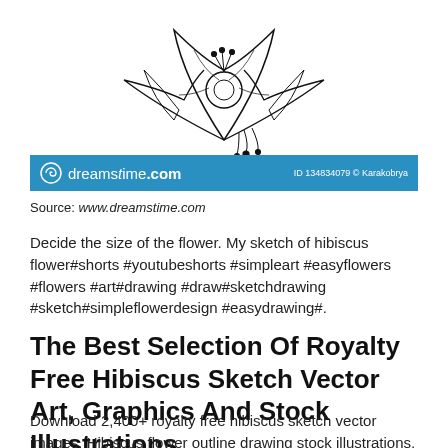[Figure (illustration): Black and white sketch illustration of a hibiscus flower, partially cropped at top of page]
[Figure (logo): Dreamstime.com blue banner with logo on left and image ID '134834079 © Karakobrya' on right]
Source: www.dreamstime.com
Decide the size of the flower. My sketch of hibiscus flower#shorts #youtubeshorts #simpleart #easyflowers #flowers #art#drawing #draw#sketchdrawing #sketch#simpleflowerdesign #easydrawing#.
The Best Selection Of Royalty Free Hibiscus Sketch Vector Art, Graphics And Stock Illustrations.
Download 2,400+ royalty free hibiscus sketch vector images. Hibiscus flower outline drawing stock illustrations. While browsing for sketches of flowers i